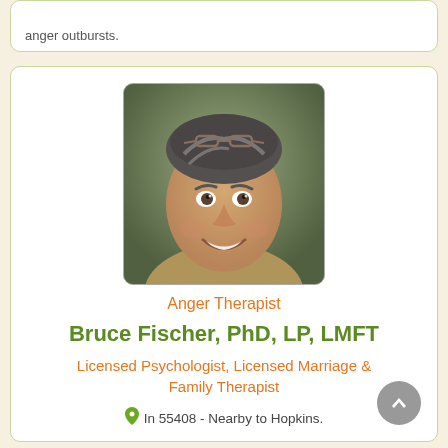anger outbursts.
[Figure (photo): Headshot photo of Bruce Fischer, a middle-aged man with salt-and-pepper hair, smiling, wearing glasses on his head, outdoors background]
Anger Therapist
Bruce Fischer, PhD, LP, LMFT
Licensed Psychologist, Licensed Marriage & Family Therapist
In 55408 - Nearby to Hopkins.